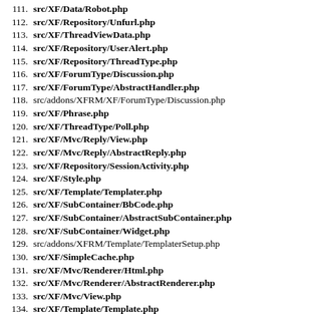111. src/XF/Data/Robot.php
112. src/XF/Repository/Unfurl.php
113. src/XF/ThreadViewData.php
114. src/XF/Repository/UserAlert.php
115. src/XF/Repository/ThreadType.php
116. src/XF/ForumType/Discussion.php
117. src/XF/ForumType/AbstractHandler.php
118. src/addons/XFRM/XF/ForumType/Discussion.php
119. src/XF/Phrase.php
120. src/XF/ThreadType/Poll.php
121. src/XF/Mvc/Reply/View.php
122. src/XF/Mvc/Reply/AbstractReply.php
123. src/XF/Repository/SessionActivity.php
124. src/XF/Style.php
125. src/XF/Template/Templater.php
126. src/XF/SubContainer/BbCode.php
127. src/XF/SubContainer/AbstractSubContainer.php
128. src/XF/SubContainer/Widget.php
129. src/addons/XFRM/Template/TemplaterSetup.php
130. src/XF/SimpleCache.php
131. src/XF/Mvc/Renderer/Html.php
132. src/XF/Mvc/Renderer/AbstractRenderer.php
133. src/XF/Mvc/View.php
134. src/XF/Template/Template.php
135. internal_data/code_cache/templates/l3/s1/public/thread_view.p
136. src/XF/Template/ExtensionSet.php